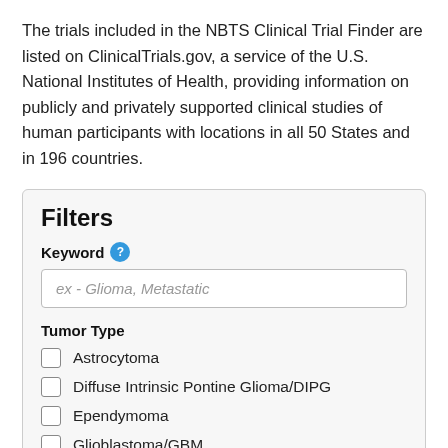The trials included in the NBTS Clinical Trial Finder are listed on ClinicalTrials.gov, a service of the U.S. National Institutes of Health, providing information on publicly and privately supported clinical studies of human participants with locations in all 50 States and in 196 countries.
Filters
Keyword
ex - Glioma, Metastatic
Tumor Type
Astrocytoma
Diffuse Intrinsic Pontine Glioma/DIPG
Ependymoma
Glioblastoma/GBM